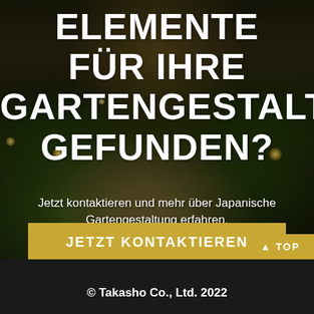[Figure (photo): Nighttime Japanese garden with illuminated stone pathway, warm garden lights, green shrubs and trees, staircase leading to building in background]
ELEMENTE FÜR IHRE GARTENGESTALTUNG GEFUNDEN?
Jetzt kontaktieren und mehr über Japanische Gartengestaltung erfahren.
JETZT KONTAKTIEREN
▲ TOP
© Takasho Co., Ltd. 2022